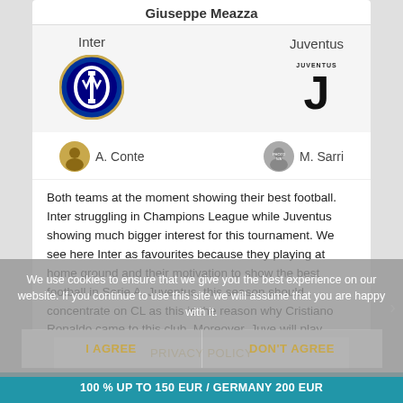Giuseppe Meazza
[Figure (illustration): Inter team logo (circular blue and black badge) and Juventus team logo (black and white J emblem) with team names above]
A. Conte   M. Sarri
Both teams at the moment showing their best football. Inter struggling in Champions League while Juventus showing much bigger interest for this tournament. We see here Inter as favourites because they playing at home ground and their motivation to show the best football in Serie A. Juventus, this season should concentrate on CL as this is the reason why Cristiano Ronaldo came to this club. Moreover, Juve will play without several defensive main players. Inter at least will take 1 point, with an 0.0 Asian handicap with 1.90 odd.
We use cookies to ensure that we give you the best experience on our website. If you continue to use this site we will assume that you are happy with it.
I AGREE   DON'T AGREE
PRIVACY POLICY
100 % UP TO 150 EUR / GERMANY 200 EUR